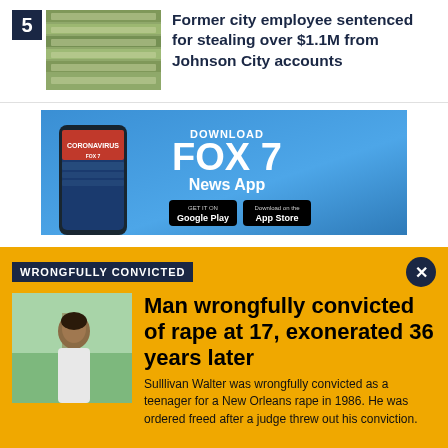5
[Figure (photo): Stack of dollar bills, money photo thumbnail]
Former city employee sentenced for stealing over $1.1M from Johnson City accounts
[Figure (screenshot): FOX 7 News App advertisement banner with phone showing coronavirus news, Google Play and App Store buttons]
WRONGFULLY CONVICTED
[Figure (photo): Portrait photo of man standing in front of a tree outdoors]
Man wrongfully convicted of rape at 17, exonerated 36 years later
Sulllivan Walter was wrongfully convicted as a teenager for a New Orleans rape in 1986. He was ordered freed after a judge threw out his conviction.